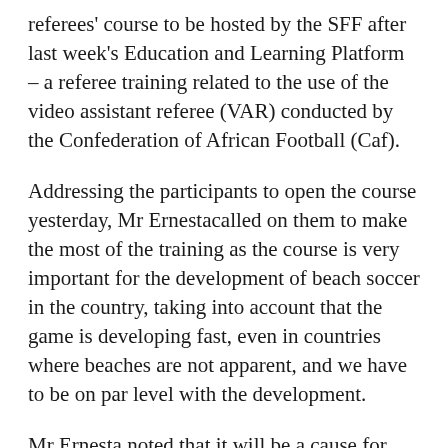referees' course to be hosted by the SFF after last week's Education and Learning Platform – a referee training related to the use of the video assistant referee (VAR) conducted by the Confederation of African Football (Caf).
Addressing the participants to open the course yesterday, Mr Ernestacalled on them to make the most of the training as the course is very important for the development of beach soccer in the country, taking into account that the game is developing fast, even in countries where beaches are not apparent, and we have to be on par level with the development.
Mr Ernesta noted that it will be a cause for celebration if the country does get its first two internationallyrecognised beach soccer referees to help promote beach soccer here and in Africaand to inspire the younger generation.